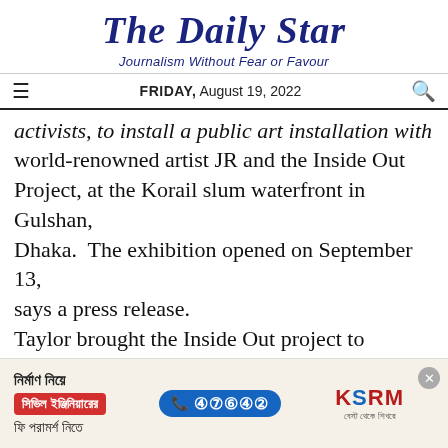The Daily Star
Journalism Without Fear or Favour
FRIDAY, August 19, 2022
activists, to install a public art installation with world-renowned artist JR and the Inside Out Project, at the Korail slum waterfront in Gulshan, Dhaka.  The exhibition opened on September 13, says a press release.
Taylor brought the Inside Out project to Bangladesh because of the inherent tension inside the Bangladeshi garment industry. While the industry has brought strength and mobility to women, it has also cost them dearly – both in the
[Figure (other): Advertisement banner for KSRM featuring Bengali text about civil engineering consultation, a phone number 16741, and the KSRM logo]